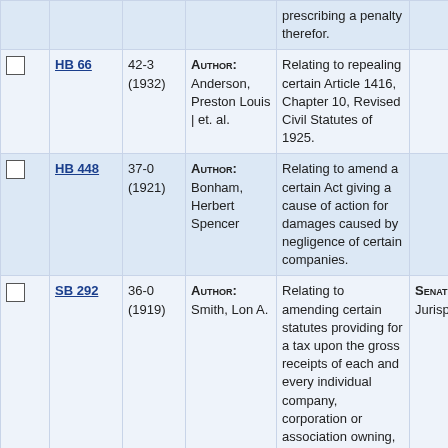|  | Bill | Vote | Author | Description | Committee |
| --- | --- | --- | --- | --- | --- |
|  |  |  |  | prescribing a penalty therefor. |  |
| ☐ | HB 66 | 42-3 (1932) | Author: Anderson, Preston Louis | et. al. | Relating to repealing certain Article 1416, Chapter 10, Revised Civil Statutes of 1925. |  |
| ☐ | HB 448 | 37-0 (1921) | Author: Bonham, Herbert Spencer | Relating to amend a certain Act giving a cause of action for damages caused by negligence of certain companies. |  |
| ☐ | SB 292 | 36-0 (1919) | Author: Smith, Lon A. | Relating to amending certain statutes providing for a tax upon the gross receipts of each and every individual company, corporation or association owning, operating, managing, or | Senate: Civil Jurisprudence |